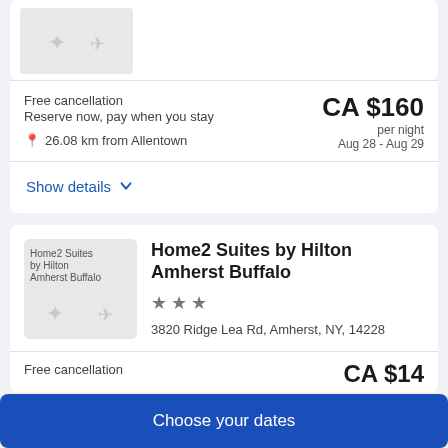[Figure (photo): Hotel thumbnail image placeholder with diamond/star icon and airplane icon on grey background]
Free cancellation
Reserve now, pay when you stay
26.08 km from Allentown
CA $160 per night Aug 28 - Aug 29
Show details
[Figure (photo): Home2 Suites by Hilton Amherst Buffalo hotel thumbnail placeholder]
Home2 Suites by Hilton Amherst Buffalo
3 stars
3820 Ridge Lea Rd, Amherst, NY, 14228
Free cancellation
CA $14...
Choose your dates